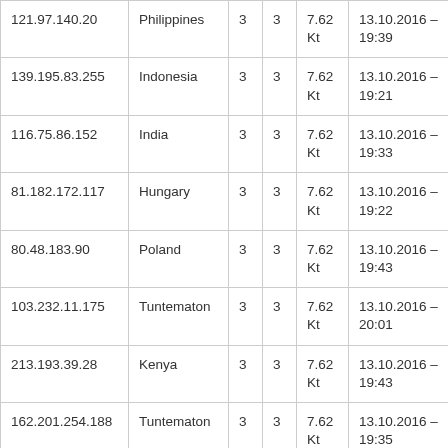| 121.97.140.20 | Philippines | 3 | 3 | 7.62 Kt | 13.10.2016 - 19:39 |
| 139.195.83.255 | Indonesia | 3 | 3 | 7.62 Kt | 13.10.2016 - 19:21 |
| 116.75.86.152 | India | 3 | 3 | 7.62 Kt | 13.10.2016 - 19:33 |
| 81.182.172.117 | Hungary | 3 | 3 | 7.62 Kt | 13.10.2016 - 19:22 |
| 80.48.183.90 | Poland | 3 | 3 | 7.62 Kt | 13.10.2016 - 19:43 |
| 103.232.11.175 | Tuntematon | 3 | 3 | 7.62 Kt | 13.10.2016 - 20:01 |
| 213.193.39.28 | Kenya | 3 | 3 | 7.62 Kt | 13.10.2016 - 19:43 |
| 162.201.254.188 | Tuntematon | 3 | 3 | 7.62 Kt | 13.10.2016 - 19:35 |
| 85.131.28.209 | Finland | 3 | 84 | 1.90 | 11.10.2016 |